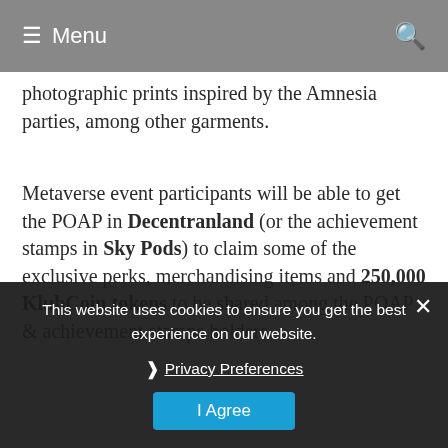≡ Menu
photographic prints inspired by the Amnesia parties, among other garments.
Metaverse event participants will be able to get the POAP in Decentranland (or the achievement stamps in Sky Pods) to claim some of the exclusive perks, merchandising items and 250,000 KlubCoin tokens to be shared among the POAP & achievement stamps holders.
"I'm excited to partner with Amnesia and Bershka to bring Ibiza to the metaverse. Decentraland fans worldwide can tune in to hear a sneak peek of my new album HIEROQUET: Genesis" and
This website uses cookies to ensure you get the best experience on our website.
Privacy Preferences
I Agree